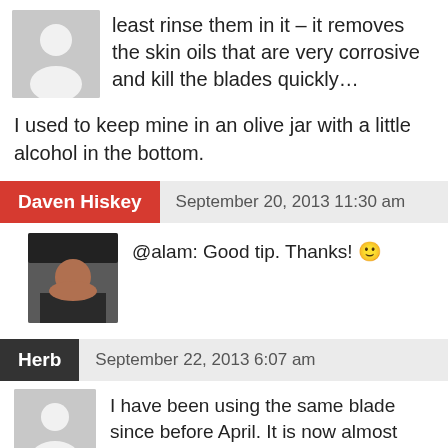…store the blades in alcohol: not use, at least rinse them in it – it removes the skin oils that are very corrosive and kill the blades quickly…
I used to keep mine in an olive jar with a little alcohol in the bottom.
Daven Hiskey   September 20, 2013 11:30 am
@alam: Good tip. Thanks! 🙂
Herb   September 22, 2013 6:07 am
I have been using the same blade since before April. It is now almost October, and all I have been doing is blowing vigorously